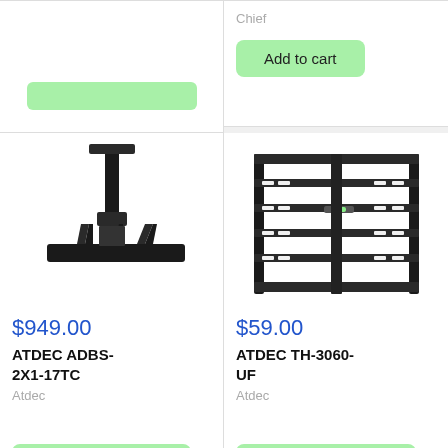[Figure (photo): Partial green button bar from previous product (top of left cell, cut off at top)]
Chief
Add to cart
[Figure (photo): Ceiling mount bracket for dual displays - ATDEC ADBS-2X1-17TC, black metal bracket hanging from ceiling pole with horizontal bar]
$949.00
ATDEC ADBS-2X1-17TC
Atdec
Add to cart
[Figure (photo): Wall mount TV bracket - ATDEC TH-3060-UF, black tilting flat wall mount with level indicator]
$59.00
ATDEC TH-3060-UF
Atdec
Add to cart